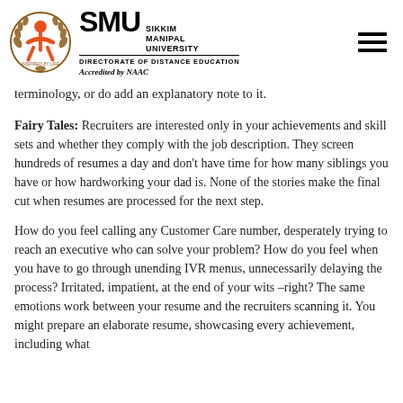SMU Sikkim Manipal University Directorate of Distance Education — Accredited by NAAC
terminology, or do add an explanatory note to it.
Fairy Tales: Recruiters are interested only in your achievements and skill sets and whether they comply with the job description. They screen hundreds of resumes a day and don't have time for how many siblings you have or how hardworking your dad is. None of the stories make the final cut when resumes are processed for the next step.
How do you feel calling any Customer Care number, desperately trying to reach an executive who can solve your problem? How do you feel when you have to go through unending IVR menus, unnecessarily delaying the process? Irritated, impatient, at the end of your wits –right? The same emotions work between your resume and the recruiters scanning it. You might prepare an elaborate resume, showcasing every achievement, including what